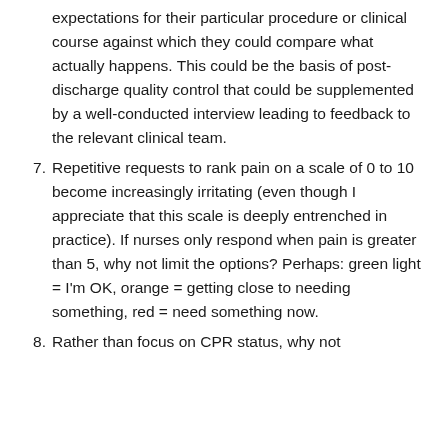expectations for their particular procedure or clinical course against which they could compare what actually happens. This could be the basis of post-discharge quality control that could be supplemented by a well-conducted interview leading to feedback to the relevant clinical team.
7. Repetitive requests to rank pain on a scale of 0 to 10 become increasingly irritating (even though I appreciate that this scale is deeply entrenched in practice). If nurses only respond when pain is greater than 5, why not limit the options? Perhaps: green light = I'm OK, orange = getting close to needing something, red = need something now.
8. Rather than focus on CPR status, why not...